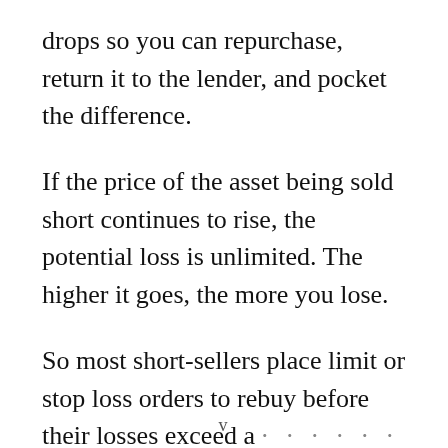drops so you can repurchase, return it to the lender, and pocket the difference.
If the price of the asset being sold short continues to rise, the potential loss is unlimited. The higher it goes, the more you lose.
So most short-sellers place limit or stop loss orders to rebuy before their losses exceed a certain amount. Never short "blue chip" stocks.
v